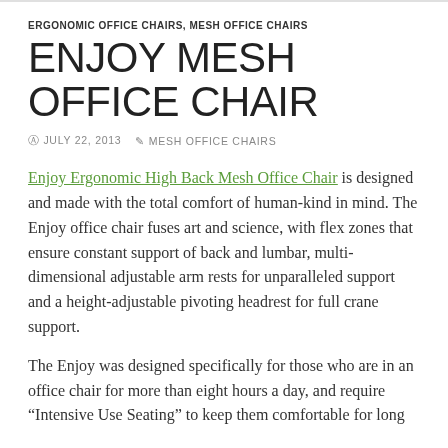ERGONOMIC OFFICE CHAIRS, MESH OFFICE CHAIRS
ENJOY MESH OFFICE CHAIR
JULY 22, 2013   MESH OFFICE CHAIRS
Enjoy Ergonomic High Back Mesh Office Chair is designed and made with the total comfort of human-kind in mind. The Enjoy office chair fuses art and science, with flex zones that ensure constant support of back and lumbar, multi-dimensional adjustable arm rests for unparalleled support and a height-adjustable pivoting headrest for full crane support.
The Enjoy was designed specifically for those who are in an office chair for more than eight hours a day, and require "Intensive Use Seating" to keep them comfortable for long...